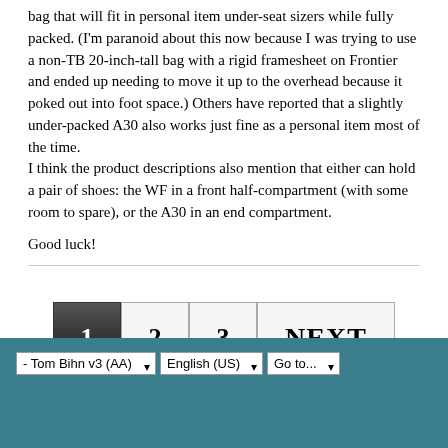bag that will fit in personal item under-seat sizers while fully packed. (I'm paranoid about this now because I was trying to use a non-TB 20-inch-tall bag with a rigid framesheet on Frontier and ended up needing to move it up to the overhead because it poked out into foot space.) Others have reported that a slightly under-packed A30 also works just fine as a personal item most of the time.
I think the product descriptions also mention that either can hold a pair of shoes: the WF in a front half-compartment (with some room to spare), or the A30 in an end compartment.
Good luck!
[Figure (other): Pagination controls showing buttons: 1 (active/selected, dark background), 2, 3, and NEXT]
- Tom Bihn v3 (AA)  English (US)  Go to...